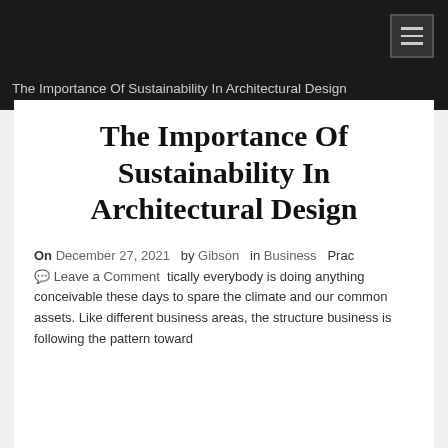The Importance Of Sustainability In Architectural Design
The Importance Of Sustainability In Architectural Design
On December 27, 2021  by Gibson  in Business  Prac tically everybody is doing anything conceivable these days to spare the climate and our common assets. Like different business areas, the structure business is following the pattern toward
Leave a Comment